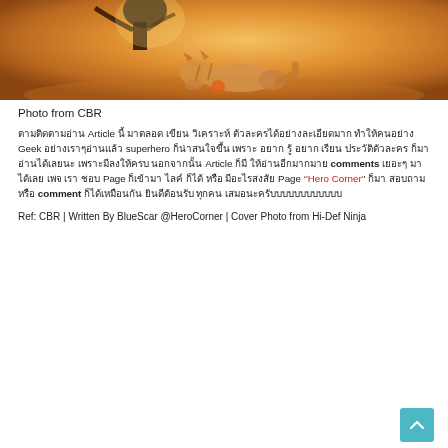[Figure (illustration): Illustration of a tiger/cat lying on orange/golden sandy ground, with a dark figure above, warm amber tones]
Photo from CBR
ตามติดตามอ่าน Article นี้ มาตลอด เขียน วิเคราะห์ ตัวละครได้อย่างละเอียดมาก ทำให้คนอย่าง Geek อย่างเราๆอ่านแล้ว superhero ก็น่าสนใจขึ้น เพราะ อยาก รู้ อยาก เรียน ประวัติตัวละคร ก็มาอ่านได้เลยนะ เพราะมีลงให้ครบ นอกจากนั้น Article ก็มี ให้อ่านอีกมากมาย comments เยอะๆ มาได้เลย เพจ เรา ชอบ Page ก็เข้ามา ไลค์ ก็ได้ หรือ มีอะไรสงสัย Page 'Hero Corner' ก็มา สอบถาม หรือ comment ก็ได้เหมือนกัน ยินดีต้อนรับ ทุกคน เสมอนะครับบบบบบบบบบบบ
Ref: CBR | Written By BlueScar @HeroCorner | Cover Photo from Hi-Def Ninja